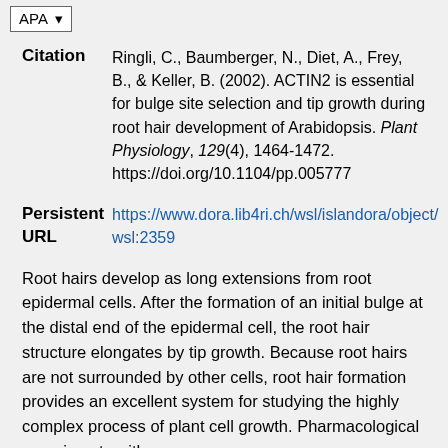APA (dropdown selector)
Citation   Ringli, C., Baumberger, N., Diet, A., Frey, B., & Keller, B. (2002). ACTIN2 is essential for bulge site selection and tip growth during root hair development of Arabidopsis. Plant Physiology, 129(4), 1464-1472. https://doi.org/10.1104/pp.005777
Persistent URL   https://www.dora.lib4ri.ch/wsl/islandora/object/wsl:2359
Root hairs develop as long extensions from root epidermal cells. After the formation of an initial bulge at the distal end of the epidermal cell, the root hair structure elongates by tip growth. Because root hairs are not surrounded by other cells, root hair formation provides an excellent system for studying the highly complex process of plant cell growth. Pharmacological experiments with